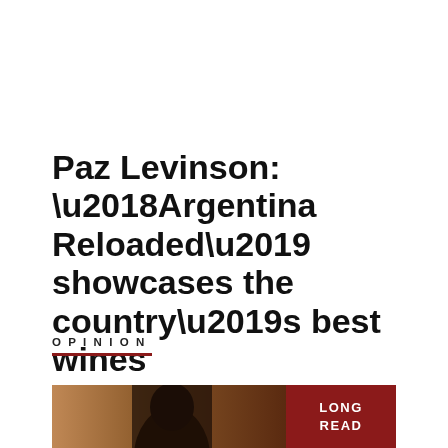Paz Levinson: ‘Argentina Reloaded’ showcases the country’s best wines
OPINION
[Figure (photo): Partial photo of a person (dark hair visible) with a dark red 'LONG READ' badge overlay on the right side]